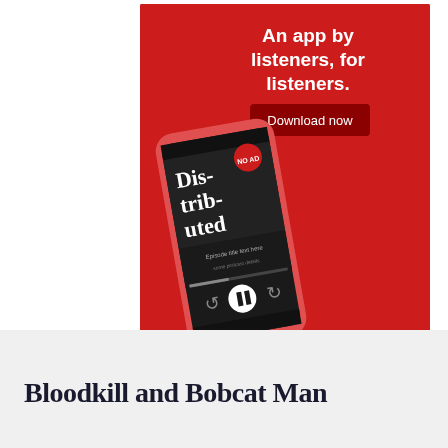[Figure (advertisement): Pocket Casts app advertisement on red background. Shows a smartphone displaying 'Distributed' podcast. Text reads 'An app by listeners, for listeners.' with a 'Download now' button. Pocket Casts logo at bottom.]
REPORT THIS AD
Bloodkill and Bobcat Man